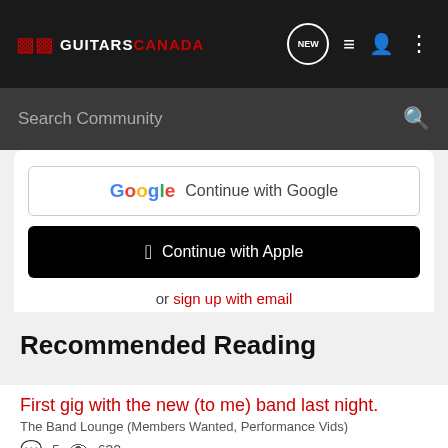GUITARS CANADA
Search Community
Continue with Google
Continue with Apple
or sign up with email
Recommended Reading
First gig with the new (to me) band last night.
The Band Lounge (Members Wanted, Performance Vids)
5  632
james on bass · updated Oct 28, 2007